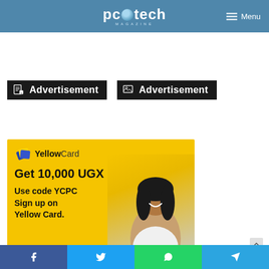PC Tech Magazine - Menu
Advertisement
Advertisement
[Figure (photo): YellowCard advertisement banner: yellow background with logo, text 'Get 10,000 UGX', 'Use code YCPC Sign up on Yellow Card.' and a smiling woman holding a phone]
Social share buttons: Facebook, Twitter, WhatsApp, Telegram